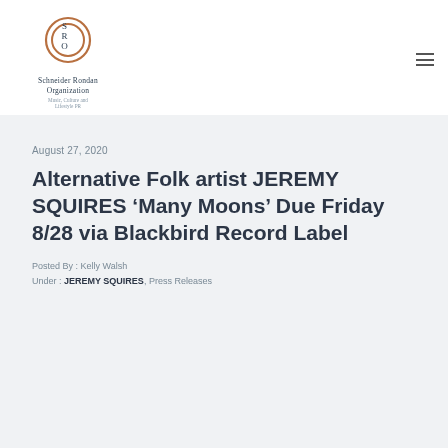[Figure (logo): Schneider Rondan Organization logo with circular SRO monogram and text 'Schneider Rondan Organization, Music, Culture and Lifestyle PR']
August 27, 2020
Alternative Folk artist JEREMY SQUIRES ‘Many Moons’ Due Friday 8/28 via Blackbird Record Label
Posted By : Kelly Walsh
Under : JEREMY SQUIRES, Press Releases